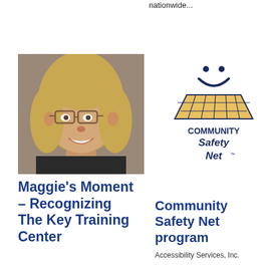nationwide...
[Figure (photo): Portrait photo of a woman with blonde hair and glasses, smiling, wearing a dark top]
[Figure (logo): Community Safety Net logo: a smiley face above a yellow checkered net/grid shape, with text 'COMMUNITY Safety Net™' below]
Maggie's Moment – Recognizing The Key Training Center
Community Safety Net program
Accessibility Services, Inc.